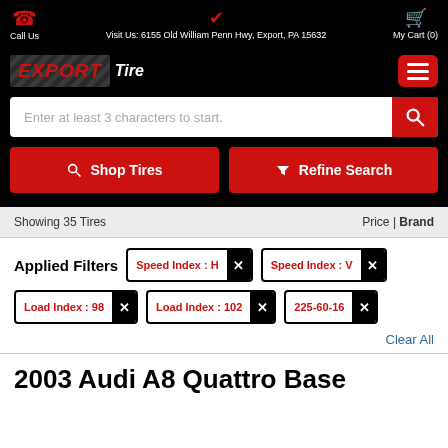Call Us | Visit Us: 6155 Old William Penn Hwy, Export, PA 15632 | My Cart (0)
[Figure (logo): Export Tire logo with red EXPORT text on dark chevron background and white Tire text]
Enter at least 3 characters to start.
Shop Tires
Refine Search
Showing 35 Tires
Price | Brand
Applied Filters
Speed Index : H
Speed Index : V
Load Index : 98
Load Index : 102
225-60-16
Clear All
2003 Audi A8 Quattro Base